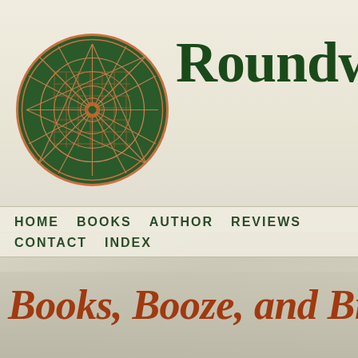[Figure (logo): Roundwood Press circular mandala/geometric logo in dark green and salmon/copper colors on cream background]
Roundwoo
HOME   BOOKS   AUTHOR   REVIEWS   CONTACT   INDEX
Books, Booze, and Br